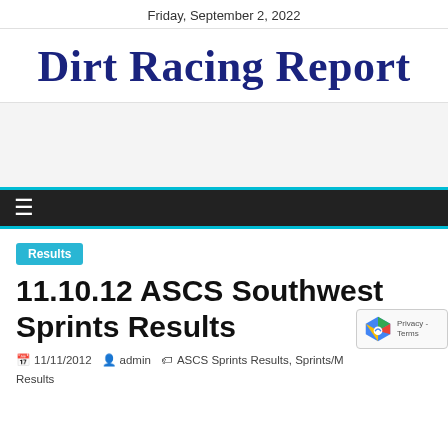Friday, September 2, 2022
Dirt Racing Report
[Figure (other): Advertisement banner placeholder with light gray background]
≡ (navigation menu icon)
Results
11.10.12 ASCS Southwest Sprints Results
11/11/2012   admin   ASCS Sprints Results, Sprints/M... Results